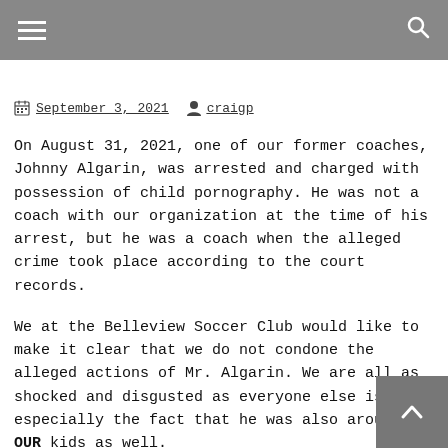≡  🔍
September 3, 2021  craigp
On August 31, 2021, one of our former coaches, Johnny Algarin, was arrested and charged with possession of child pornography. He was not a coach with our organization at the time of his arrest, but he was a coach when the alleged crime took place according to the court records.
We at the Belleview Soccer Club would like to make it clear that we do not condone the alleged actions of Mr. Algarin. We are all as shocked and disgusted as everyone else is, especially the fact that he was also around OUR kids as well.